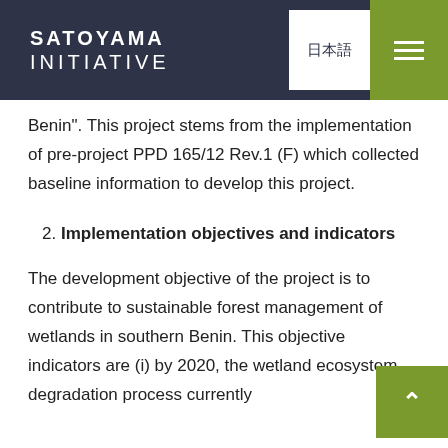SATOYAMA INITIATIVE | 日本語
Benin". This project stems from the implementation of pre-project PPD 165/12 Rev.1 (F) which collected baseline information to develop this project.
2. Implementation objectives and indicators
The development objective of the project is to contribute to sustainable forest management of wetlands in southern Benin. This objective indicators are (i) by 2020, the wetland ecosystem degradation process currently